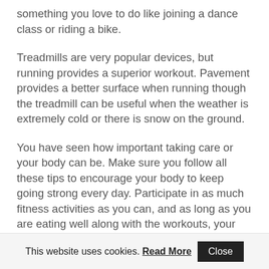something you love to do like joining a dance class or riding a bike.
Treadmills are very popular devices, but running provides a superior workout. Pavement provides a better surface when running though the treadmill can be useful when the weather is extremely cold or there is snow on the ground.
You have seen how important taking care or your body can be. Make sure you follow all these tips to encourage your body to keep going strong every day. Participate in as much fitness activities as you can, and as long as you are eating well along with the workouts, your body will be very happy and healthy.
This website uses cookies. Read More  Close